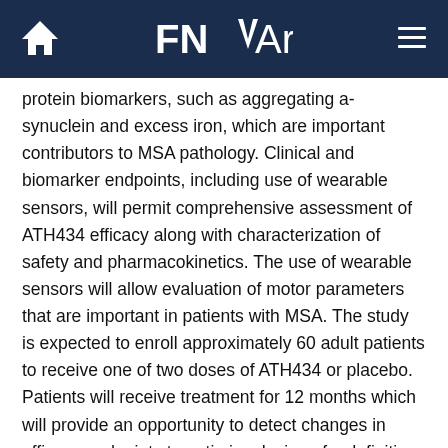FNArena
protein biomarkers, such as aggregating a-synuclein and excess iron, which are important contributors to MSA pathology. Clinical and biomarker endpoints, including use of wearable sensors, will permit comprehensive assessment of ATH434 efficacy along with characterization of safety and pharmacokinetics. The use of wearable sensors will allow evaluation of motor parameters that are important in patients with MSA. The study is expected to enroll approximately 60 adult patients to receive one of two doses of ATH434 or placebo. Patients will receive treatment for 12 months which will provide an opportunity to detect changes in efficacy endpoints to optimize design of a definitive Phase 3 study. Additional information on the Phase 2 trial can be found by ClinicalTrials.gov Identifier: NCT05109091.